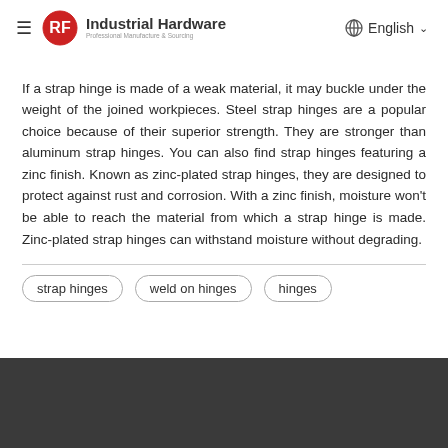Industrial Hardware — Professional Manufacture & Sourcing | English
If a strap hinge is made of a weak material, it may buckle under the weight of the joined workpieces. Steel strap hinges are a popular choice because of their superior strength. They are stronger than aluminum strap hinges. You can also find strap hinges featuring a zinc finish. Known as zinc-plated strap hinges, they are designed to protect against rust and corrosion. With a zinc finish, moisture won't be able to reach the material from which a strap hinge is made. Zinc-plated strap hinges can withstand moisture without degrading.
strap hinges
weld on hinges
hinges